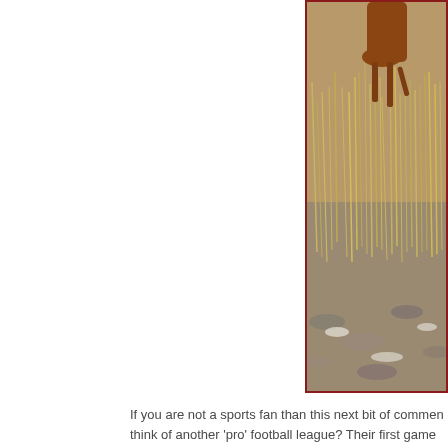[Figure (photo): A dog walking on a rocky path with dry grass and brush in the background. The image is partially cropped, showing the right portion. The photo has a dark red/maroon border.]
If you are not a sports fan than this next bit of commen think of another 'pro' football league? Their first game the end of April. By that time MLB will have finished th
I looked up the league's website early last night and re the XFL but for me there were too many gimmicks and Last night I watched the whole game and enjoyed it.
I like the three major rule differences than the NFL alth NFL based in some way. Even the announcers were th past NFL season.